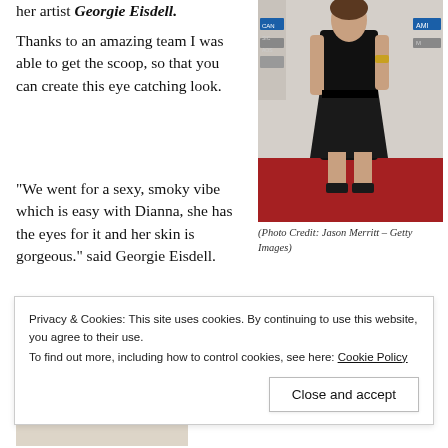her artist Georgie Eisdell.
Thanks to an amazing team I was able to get the scoop, so that you can create this eye catching look.
“We went for a sexy, smoky vibe which is easy with Dianna, she has the eyes for it and her skin is gorgeous.” said Georgie Eisdell.
[Figure (photo): Woman in black dress on red carpet at American Music Awards]
(Photo Credit: Jason Merritt – Getty Images)
[Figure (photo): Partial photo of a person, bottom portion of page]
To start the
Privacy & Cookies: This site uses cookies. By continuing to use this website, you agree to their use.
To find out more, including how to control cookies, see here: Cookie Policy
Close and accept